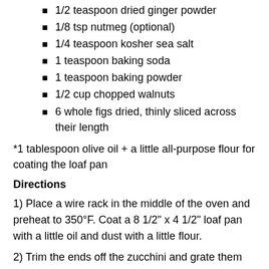1/2 teaspoon dried ginger powder
1/8 tsp nutmeg (optional)
1/4 teaspoon kosher sea salt
1 teaspoon baking soda
1 teaspoon baking powder
1/2 cup chopped walnuts
6 whole figs dried, thinly sliced across their length
*1 tablespoon olive oil + a little all-purpose flour for coating the loaf pan
Directions
1) Place a wire rack in the middle of the oven and preheat to 350°F. Coat a 8 1/2" x 4 1/2" loaf pan with a little oil and dust with a little flour.
2) Trim the ends off the zucchini and grate them into fine